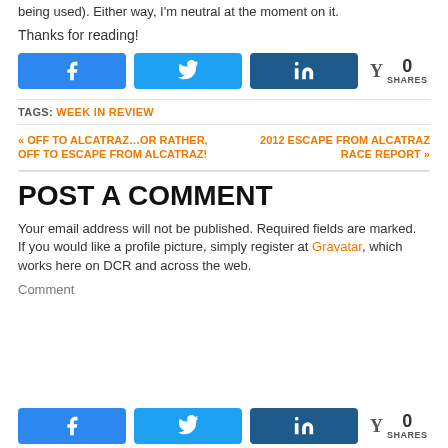being used). Either way, I'm neutral at the moment on it.
Thanks for reading!
[Figure (other): Social share buttons: Facebook (blue), Twitter (light blue), LinkedIn (dark blue), and a Y/Yummly share counter showing 0 SHARES]
TAGS: WEEK IN REVIEW
« OFF TO ALCATRAZ…OR RATHER, OFF TO ESCAPE FROM ALCATRAZ!
2012 ESCAPE FROM ALCATRAZ RACE REPORT »
POST A COMMENT
Your email address will not be published. Required fields are marked.
If you would like a profile picture, simply register at Gravatar, which works here on DCR and across the web.
Comment
[Figure (other): Social share buttons at bottom: Facebook, Twitter, LinkedIn, and Y/0 SHARES counter]